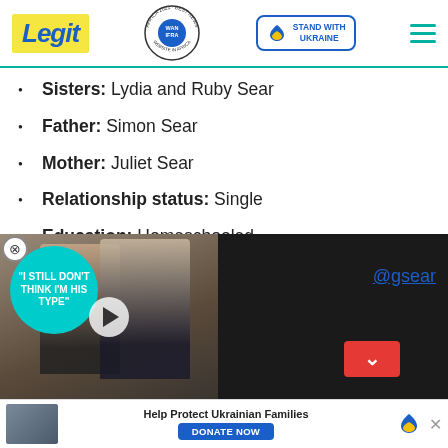Legit — Best News Website in Africa 2021 · WAN IFRA
Sisters: Lydia and Ruby Sear
Father: Simon Sear
Mother: Juliet Sear
Relationship status: Single
Education: Homeschooled
Occupation: Acting
Hobbies: Photo shooting, body surfing, mountain climbing,
[Figure (screenshot): Video popup overlay showing a couple at a formal event with text 'I STILL DON'T THINK I'M HIS TYPE' and an Instagram link @gsear, with a red down-arrow button]
[Figure (screenshot): Bottom banner ad: Help Protect Ukrainian Families with DONATE NOW button and Ukraine flag heart logo]